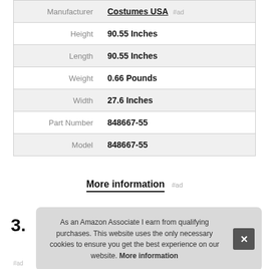| Label | Value |
| --- | --- |
| Manufacturer | Costumes USA #ad |
| Height | 90.55 Inches |
| Length | 90.55 Inches |
| Weight | 0.66 Pounds |
| Width | 27.6 Inches |
| Part Number | 848667-55 |
| Model | 848667-55 |
More information #ad
3.
As an Amazon Associate I earn from qualifying purchases. This website uses the only necessary cookies to ensure you get the best experience on our website. More information
#ad